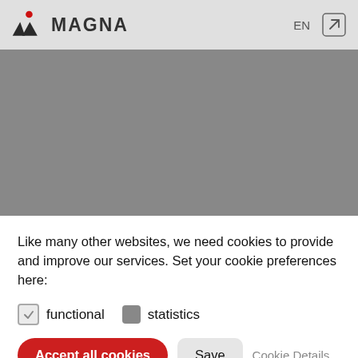[Figure (logo): Magna International logo with red triangle icon and bold MAGNA text in dark gray]
[Figure (screenshot): Gray placeholder area representing website content background]
Like many other websites, we need cookies to provide and improve our services. Set your cookie preferences here:
functional   statistics
Accept all cookies   Save   Cookie Details